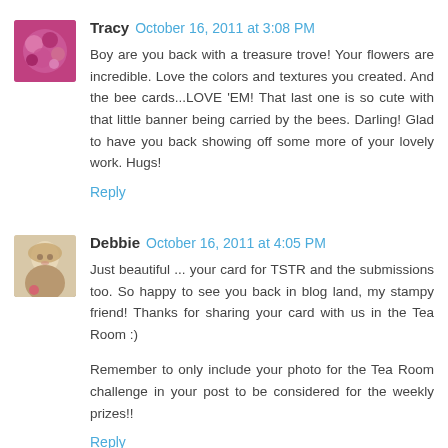[Figure (photo): Avatar photo of Tracy, showing pink/magenta flowers]
Tracy October 16, 2011 at 3:08 PM
Boy are you back with a treasure trove! Your flowers are incredible. Love the colors and textures you created. And the bee cards...LOVE 'EM! That last one is so cute with that little banner being carried by the bees. Darling! Glad to have you back showing off some more of your lovely work. Hugs!
Reply
[Figure (photo): Avatar photo of Debbie, showing a woman with blonde hair]
Debbie October 16, 2011 at 4:05 PM
Just beautiful ... your card for TSTR and the submissions too. So happy to see you back in blog land, my stampy friend! Thanks for sharing your card with us in the Tea Room :)
Remember to only include your photo for the Tea Room challenge in your post to be considered for the weekly prizes!!
Reply